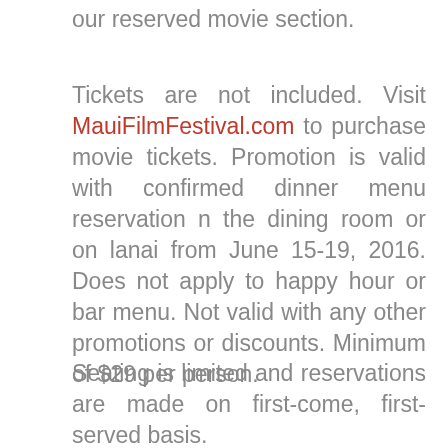our reserved movie section.
Tickets are not included. Visit MauiFilmFestival.com to purchase movie tickets. Promotion is valid with confirmed dinner menu reservation n the dining room or on lanai from June 15-19, 2016. Does not apply to happy hour or bar menu. Not valid with any other promotions or discounts. Minimum of $29 per person.
Seating is limited and reservations are made on first-come, first-served basis.